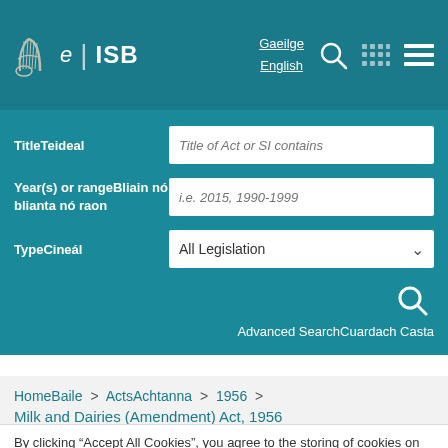e | ISB — Gaeilge / English
TitleTeideal — Title of Act or SI contains
Year(s) or rangeBliain nó blianta nó raon — i.e. 2015, 1990-1999
TypeCineál — All Legislation
Advanced SearchCuardach Casta
HomeBaile > ActsAchtanna > 1956 > Milk and Dairies (Amendment) Act, 1956
By clicking "Accept All Cookies", you agree to the storing of cookies on your device to enhance site navigation and to